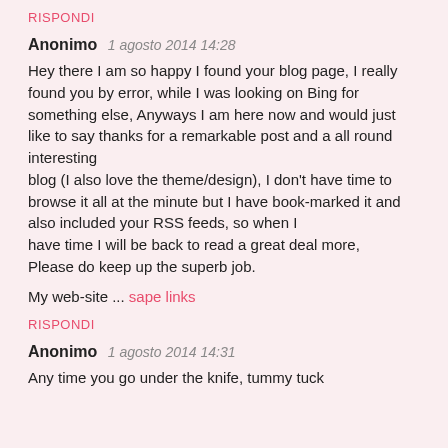RISPONDI
Anonimo   1 agosto 2014 14:28
Hey there I am so happy I found your blog page, I really found you by error, while I was looking on Bing for something else, Anyways I am here now and would just like to say thanks for a remarkable post and a all round interesting blog (I also love the theme/design), I don't have time to browse it all at the minute but I have book-marked it and also included your RSS feeds, so when I have time I will be back to read a great deal more, Please do keep up the superb job.
My web-site ... sape links
RISPONDI
Anonimo   1 agosto 2014 14:31
Any time you go under the knife, tummy tuck